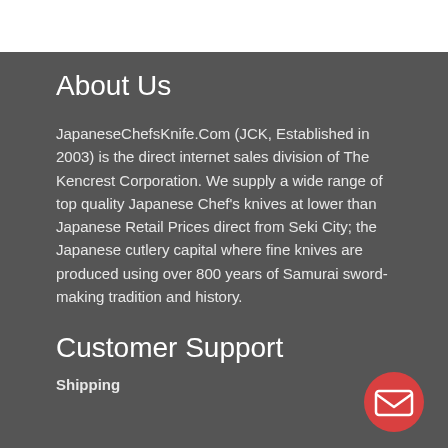About Us
JapaneseChefsKnife.Com (JCK, Established in 2003) is the direct internet sales division of The Kencrest Corporation. We supply a wide range of top quality Japanese Chef's knives at lower than Japanese Retail Prices direct from Seki City; the Japanese cutlery capital where fine knives are produced using over 800 years of Samurai sword-making tradition and history.
Customer Support
Shipping
[Figure (illustration): Red circular email button with envelope icon]